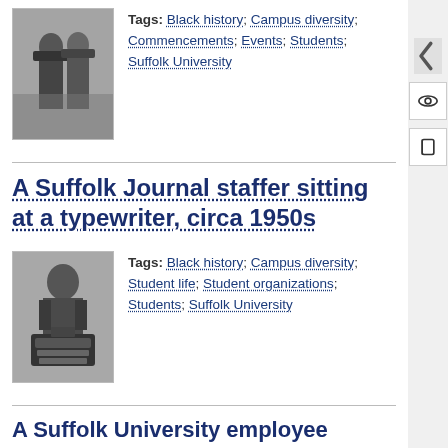[Figure (photo): Black and white photograph of a person in graduation regalia at a commencement ceremony]
Tags: Black history; Campus diversity; Commencements; Events; Students; Suffolk University
A Suffolk Journal staffer sitting at a typewriter, circa 1950s
[Figure (photo): Black and white photograph of a young man sitting at a typewriter]
Tags: Black history; Campus diversity; Student life; Student organizations; Students; Suffolk University
A Suffolk University employee